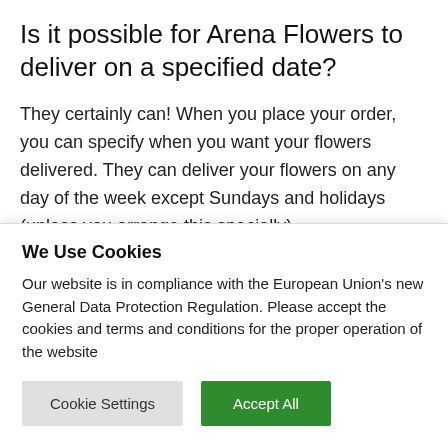Is it possible for Arena Flowers to deliver on a specified date?
They certainly can! When you place your order, you can specify when you want your flowers delivered. They can deliver your flowers on any day of the week except Sundays and holidays (unless you arrange this specially).
Is there a social media account for Arena Flowers?
We Use Cookies
Our website is in compliance with the European Union's new General Data Protection Regulation. Please accept the cookies and terms and conditions for the proper operation of the website
Cookie Settings
Accept All